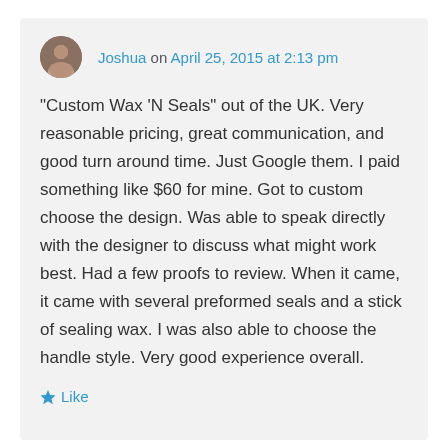Joshua on April 25, 2015 at 2:13 pm
“Custom Wax ‘N Seals” out of the UK. Very reasonable pricing, great communication, and good turn around time. Just Google them. I paid something like $60 for mine. Got to custom choose the design. Was able to speak directly with the designer to discuss what might work best. Had a few proofs to review. When it came, it came with several preformed seals and a stick of sealing wax. I was also able to choose the handle style. Very good experience overall.
Like